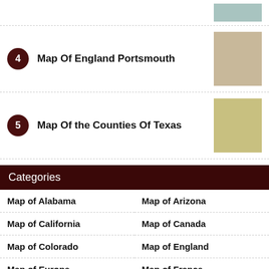4 Map Of England Portsmouth
5 Map Of the Counties Of Texas
Categories
Map of Alabama
Map of Arizona
Map of California
Map of Canada
Map of Colorado
Map of England
Map of Europe
Map of France
Map of Georgia
Map of Ireland
Map of Italy
Map of Michigan